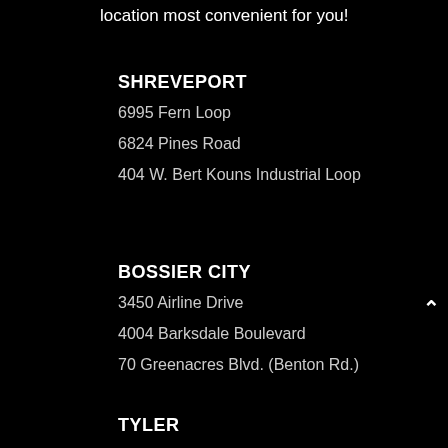location most convenient for you!
SHREVEPORT
6995 Fern Loop
6824 Pines Road
404 W. Bert Kouns Industrial Loop
BOSSIER CITY
3450 Airline Drive
4004 Barksdale Boulevard
70 Greenacres Blvd. (Benton Rd.)
TYLER
2123 W. SW Loop 323